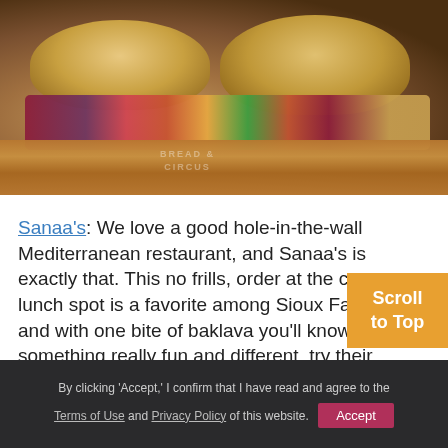[Figure (photo): Close-up photo of two halves of a Mediterranean sandwich on a wooden cutting board, showing fillings of red cabbage, red onion, and sauces between flatbread. A 'Bread & Circus' logo is visible on the board.]
Sanaa's: We love a good hole-in-the-wall Mediterranean restaurant, and Sanaa's is exactly that. This no frills, order at the counter lunch spot is a favorite among Sioux Falls locals, and with one bite of baklava you'll know why! For something really fun and different, try their Saturday lunch buffet! You might even meet Sanaa herself!
By clicking 'Accept,' I confirm that I have read and agree to the Terms of Use and Privacy Policy of this website. Accept